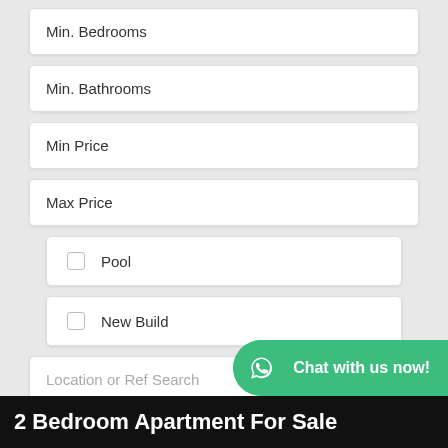Min. Bedrooms
Min. Bathrooms
Min Price
Max Price
Pool
New Build
Location or Ref Search
View All Properties
Chat with us now!
2 Bedroom Apartment For Sale